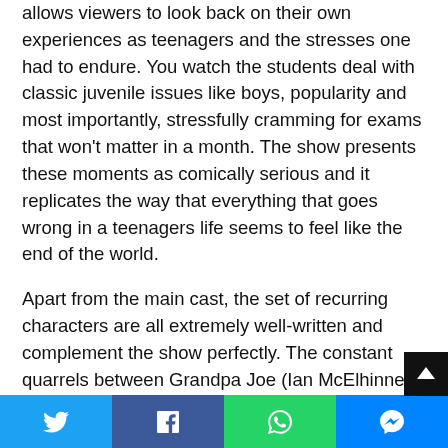allows viewers to look back on their own experiences as teenagers and the stresses one had to endure. You watch the students deal with classic juvenile issues like boys, popularity and most importantly, stressfully cramming for exams that won't matter in a month. The show presents these moments as comically serious and it replicates the way that everything that goes wrong in a teenagers life seems to feel like the end of the world.
Apart from the main cast, the set of recurring characters are all extremely well-written and complement the show perfectly. The constant quarrels between Grandpa Joe (Ian McElhinney) and Erin's dad, Gerry (Tommy Tiernan), make for some realistic family content. We all have that one family member that seems to go on and on incessantly
Social share bar: Twitter, Facebook, WhatsApp, Messenger